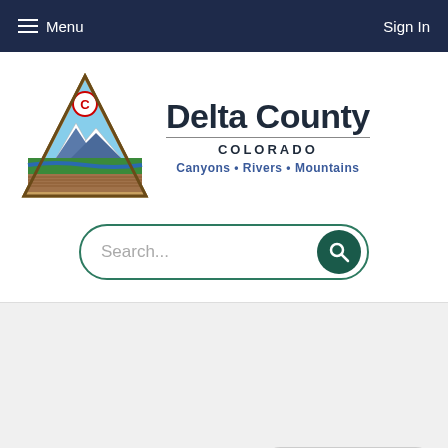Menu  Sign In
[Figure (logo): Delta County Colorado logo — triangle shape with mountains, rivers, and canyons imagery inside; text reads 'Delta County COLORADO • Canyons • Rivers • Mountains']
Search...
Select Language